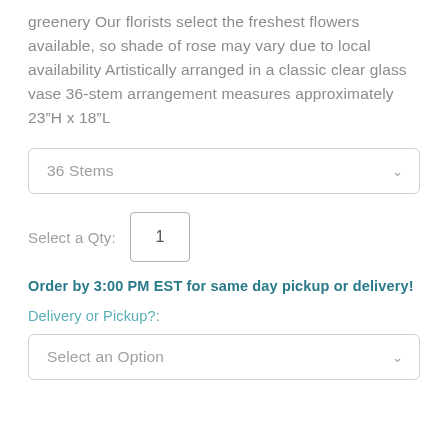greenery Our florists select the freshest flowers available, so shade of rose may vary due to local availability Artistically arranged in a classic clear glass vase 36-stem arrangement measures approximately 23"H x 18"L
36 Stems
Select a Qty: 1
Order by 3:00 PM EST for same day pickup or delivery!
Delivery or Pickup?:
Select an Option